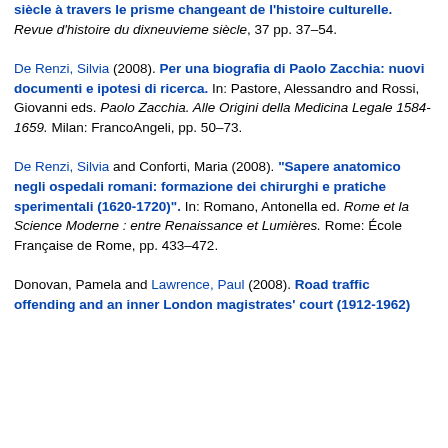siècle à travers le prisme changeant de l'histoire culturelle. Revue d'histoire du dixneuvieme siècle, 37 pp. 37–54.
De Renzi, Silvia (2008). Per una biografia di Paolo Zacchia: nuovi documenti e ipotesi di ricerca. In: Pastore, Alessandro and Rossi, Giovanni eds. Paolo Zacchia. Alle Origini della Medicina Legale 1584-1659. Milan: FrancoAngeli, pp. 50–73.
De Renzi, Silvia and Conforti, Maria (2008). "Sapere anatomico negli ospedali romani: formazione dei chirurghi e pratiche sperimentali (1620-1720)". In: Romano, Antonella ed. Rome et la Science Moderne : entre Renaissance et Lumières. Rome: École Française de Rome, pp. 433–472.
Donovan, Pamela and Lawrence, Paul (2008). Road traffic offending and an inner London magistrates' court (1912-1962).